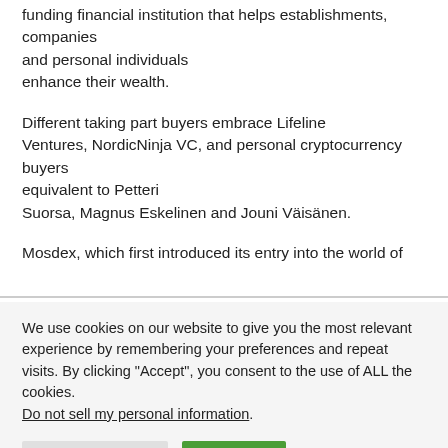funding financial institution that helps establishments, companies and personal individuals enhance their wealth.
Different taking part buyers embrace Lifeline Ventures, NordicNinja VC, and personal cryptocurrency buyers equivalent to Petteri Suorsa, Magnus Eskelinen and Jouni Väisänen.
Mosdex, which first introduced its entry into the world of
We use cookies on our website to give you the most relevant experience by remembering your preferences and repeat visits. By clicking "Accept", you consent to the use of ALL the cookies. Do not sell my personal information.